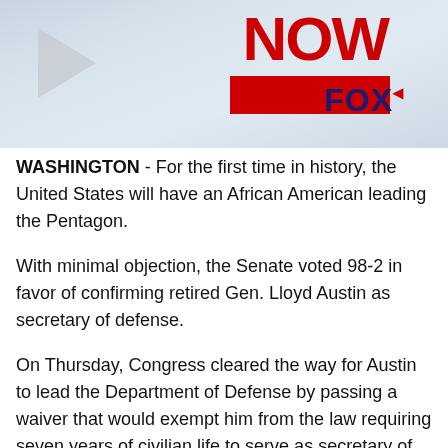[Figure (screenshot): Fox News NOW video thumbnail with play button, red NOW text, and FOX logo on blue-gray background]
WASHINGTON - For the first time in history, the United States will have an African American leading the Pentagon.
With minimal objection, the Senate voted 98-2 in favor of confirming retired Gen. Lloyd Austin as secretary of defense.
On Thursday, Congress cleared the way for Austin to lead the Department of Defense by passing a waiver that would exempt him from the law requiring seven years of civilian life to serve as secretary of defense.